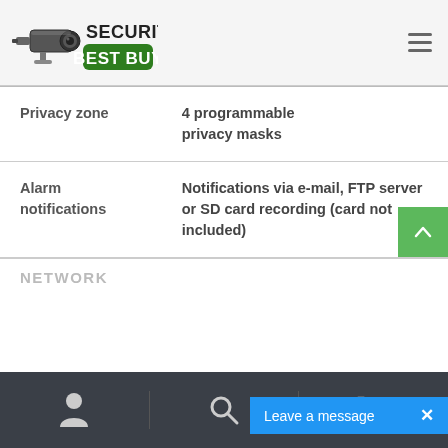Security Best Buy
| Feature | Value |
| --- | --- |
| Privacy zone | 4 programmable privacy masks |
| Alarm notifications | Notifications via e-mail, FTP server or SD card recording (card not included) |
NETWORK
Leave a message